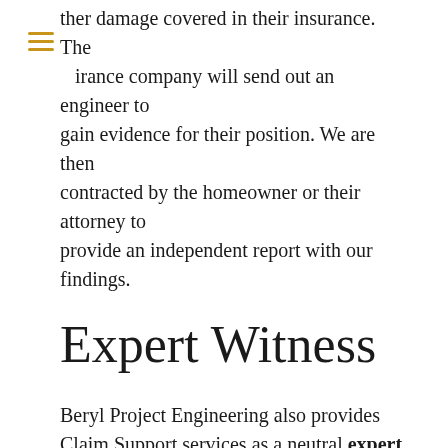other damage covered in their insurance. The insurance company will send out an engineer to gain evidence for their position. We are then contracted by the homeowner or their attorney to provide an independent report with our findings.
Expert Witness
Beryl Project Engineering also provides Claim Support services as a neutral expert witness under the direction of clients to help settle unresolved disputes. These services can include reviewing reports, photographs, and invoices to render an unbiased expert opinion on matters relating to our area of expertise. These are usually